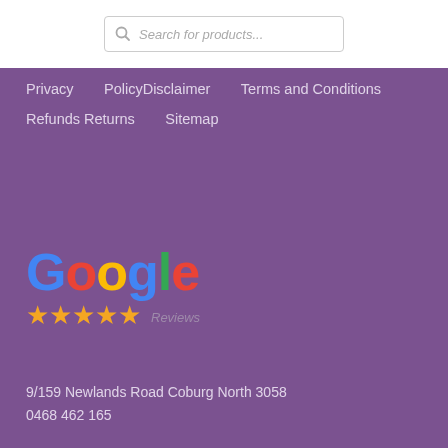[Figure (screenshot): Search bar with placeholder text 'Search for products...' and magnifying glass icon]
Privacy
PolicyDisclaimer
Terms and Conditions
Refunds Returns
Sitemap
[Figure (logo): Google Reviews logo with colorful Google text and five gold stars]
9/159 Newlands Road Coburg North 3058
0468 462 165